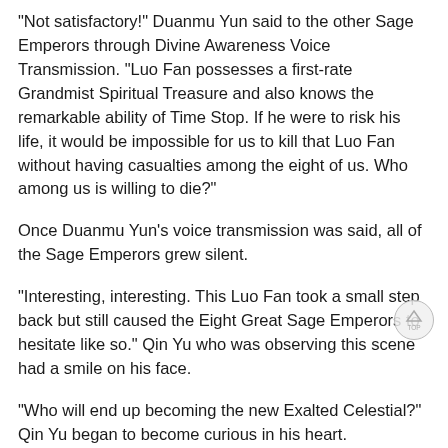"Not satisfactory!" Duanmu Yun said to the other Sage Emperors through Divine Awareness Voice Transmission. "Luo Fan possesses a first-rate Grandmist Spiritual Treasure and also knows the remarkable ability of Time Stop. If he were to risk his life, it would be impossible for us to kill that Luo Fan without having casualties among the eight of us. Who among us is willing to die?"
Once Duanmu Yun's voice transmission was said, all of the Sage Emperors grew silent.
"Interesting, interesting. This Luo Fan took a small step back but still caused the Eight Great Sage Emperors to hesitate like so." Qin Yu who was observing this scene had a smile on his face.
"Who will end up becoming the new Exalted Celestial?" Qin Yu began to become curious in his heart.
According to what the mysterious Lin Meng had said during the hundred days ceremony of his son, Qin Si, none of the Godkings on the Exalted Celestial Mountain would be able to become the new Exalted Celestial. Thus, the candidates for becoming the Exalted Celestial were limited to a couple